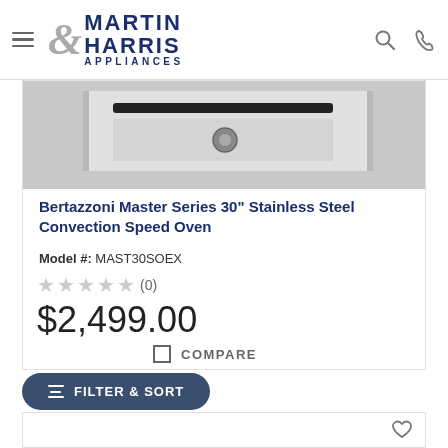Martin & Harris Appliances
[Figure (photo): Partial view of a Bertazzoni stainless steel convection speed oven, showing the top panel with control knob]
Bertazzoni Master Series 30" Stainless Steel Convection Speed Oven
Model #: MAST30SOEX
★★★★★ (0)
$2,499.00
COMPARE